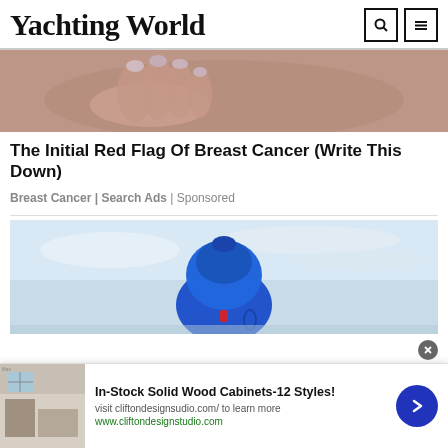Yachting World
[Figure (photo): Close-up of a hand with light-colored nail polish touching a textured surface]
The Initial Red Flag Of Breast Cancer (Write This Down)
Breast Cancer | Search Ads | Sponsored
[Figure (photo): A blue bag or backpack against a light sky background]
[Figure (photo): Bottom banner ad showing room with furniture image thumbnail, In-Stock Solid Wood Cabinets-12 Styles!, visit cliftondesignsudio.com/ to learn more, www.cliftondesignstudio.com]